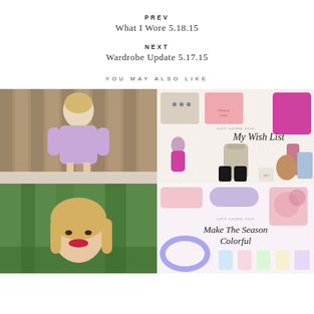PREV
What I Wore 5.18.15
NEXT
Wardrobe Update 5.17.15
YOU MAY ALSO LIKE
[Figure (photo): Woman in lavender sweatshirt dress with white sneakers standing outdoors by wooden fence]
[Figure (infographic): Gift Guide 2020 - My Wish List collage with pink dress, beige sweater, boots, candle, jeans and accessories]
[Figure (photo): Portrait of blonde woman smiling with red lipstick in front of trees]
[Figure (infographic): Gift Guide 2020 - Make The Season Colorful collage with colorful accessories]